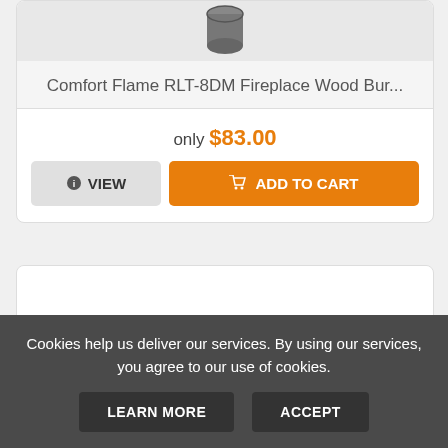[Figure (photo): Comfort Flame RLT-8DM Fireplace Wood Burner product image — cylindrical metal canister shown from above on a light grey background]
Comfort Flame RLT-8DM Fireplace Wood Bur...
only $83.00
VIEW
ADD TO CART
[Figure (photo): Second fireplace/wood stove product image — black pellet stove insert with glass front showing fire, photographed on a white background]
Cookies help us deliver our services. By using our services, you agree to our use of cookies.
LEARN MORE
ACCEPT